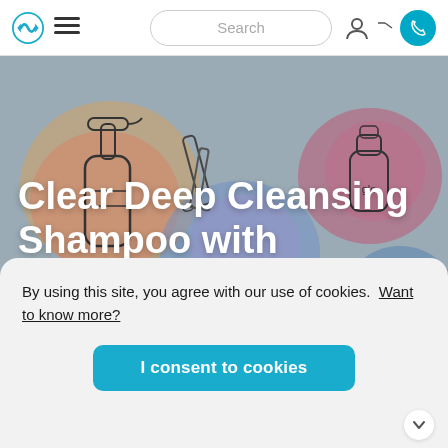[Figure (screenshot): Website navigation bar with logo, hamburger menu, search bar, user icon, and phone button]
[Figure (illustration): Hero banner with illustrated personal care products (shampoo bottle, pens, lotion bottles) on watercolor backgrounds in grey/blue/pink tones]
Clear Deep Cleansing Shampoo with Gantrez™ S-95
By using this site, you agree with our use of cookies. Want to know more?
I consent to cookies